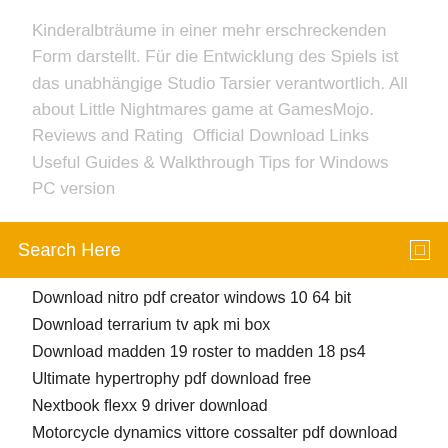Kinderalbträume in einer mehr erschreckenden Form darstellt. Für die Entwicklung des Spiels ist das unabhängige Studio Tarsier verantwortlich. All about Little Nightmares game at GamesMojo.  Reviews and Rating  Official Download Links Useful Guides & Walkthrough Tips for Windows PC version
Search Here
Download nitro pdf creator windows 10 64 bit
Download terrarium tv apk mi box
Download madden 19 roster to madden 18 ps4
Ultimate hypertrophy pdf download free
Nextbook flexx 9 driver download
Motorcycle dynamics vittore cossalter pdf download
Asphalt 9 free download for pc
Download with manager nexus not working mod organize
How to download gta v on android
The sims 3 download torent pc
Download hp 1999 driver windows 7